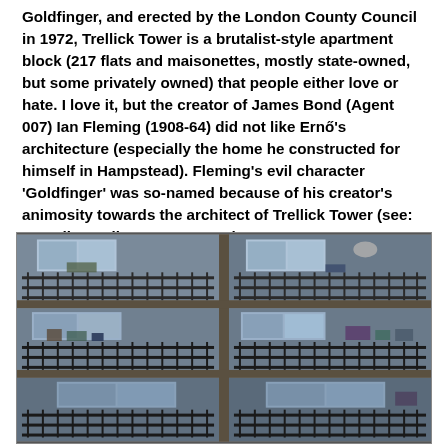Goldfinger, and erected by the London County Council in 1972, Trellick Tower is a brutalist-style apartment block (217 flats and maisonettes, mostly state-owned, but some privately owned) that people either love or hate. I love it, but the creator of James Bond (Agent 007) Ian Fleming (1908-64) did not like Ernő's architecture (especially the home he constructed for himself in Hampstead). Fleming's evil character 'Goldfinger' was so-named because of his creator's animosity towards the architect of Trellick Tower (see: Guardian online, 3 June 2005).
[Figure (photo): Photograph of Trellick Tower showing close-up of brutalist concrete facade with balconies arranged in a 2x3 grid pattern. Balconies have iron railings and show various items including satellite dishes, furniture, and laundry. The concrete blocks are tan/brown textured with dark grey structural elements.]